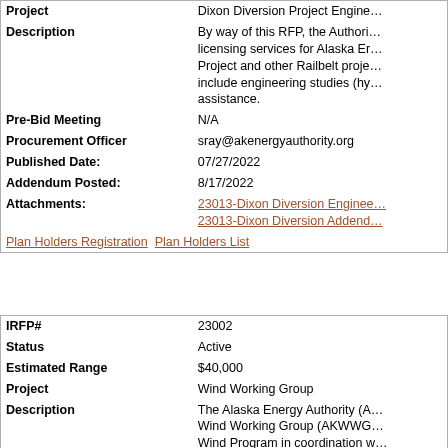| Field | Value |
| --- | --- |
| Project | Dixon Diversion Project Engine… |
| Description | By way of this RFP, the Authori… licensing services for Alaska Er… Project and other Railbelt proje… include engineering studies (hy… assistance. |
| Pre-Bid Meeting | N/A |
| Procurement Officer | sray@akenergyauthority.org |
| Published Date: | 07/27/2022 |
| Addendum Posted: | 8/17/2022 |
| Attachments: | 23013-Dixon Diversion Enginee…
23013-Dixon Diversion Addend… |
|  | Plan Holders Registration  Plan Holders List |
| Field | Value |
| --- | --- |
| IRFP# | 23002 |
| Status | Active |
| Estimated Range | $40,000 |
| Project | Wind Working Group |
| Description | The Alaska Energy Authority (A… Wind Working Group (AKWWG… Wind Program in coordination w… members from across the state… |